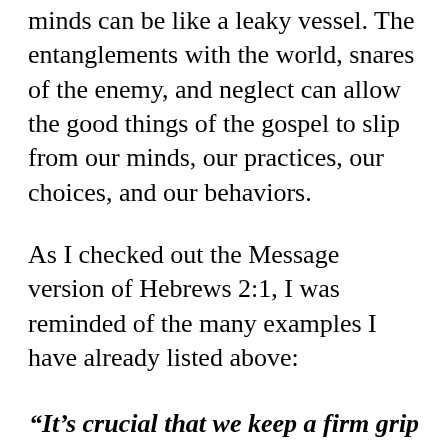minds can be like a leaky vessel. The entanglements with the world, snares of the enemy, and neglect can allow the good things of the gospel to slip from our minds, our practices, our choices, and our behaviors.
As I checked out the Message version of Hebrews 2:1, I was reminded of the many examples I have already listed above:
“It’s crucial that we keep a firm grip on what we’ve heard so that we don’t drift off.” Heb. 2:1 (The Message)